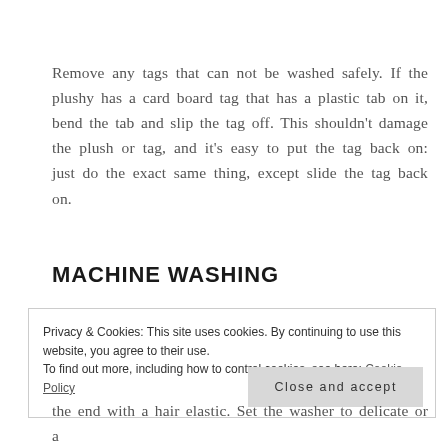Remove any tags that can not be washed safely. If the plushy has a card board tag that has a plastic tab on it, bend the tab and slip the tag off. This shouldn't damage the plush or tag, and it's easy to put the tag back on: just do the exact same thing, except slide the tag back on.
MACHINE WASHING
Privacy & Cookies: This site uses cookies. By continuing to use this website, you agree to their use.
To find out more, including how to control cookies, see here: Cookie Policy
Close and accept
the end with a hair elastic. Set the washer to delicate or a